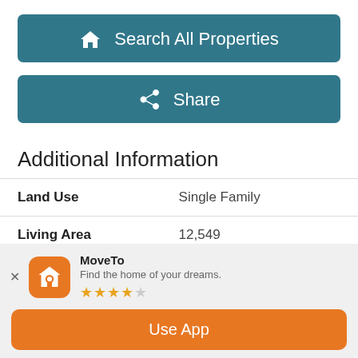[Figure (other): Teal button with house icon labeled 'Search All Properties']
[Figure (other): Teal button with share icon labeled 'Share']
Additional Information
| Land Use | Single Family |
| Living Area | 12,549 |
| Fireplace | Three or More, Gas |
[Figure (infographic): MoveTo app banner with orange house icon, app name MoveTo, tagline 'Find the home of your dreams.', 3.5 star rating, and Use App button]